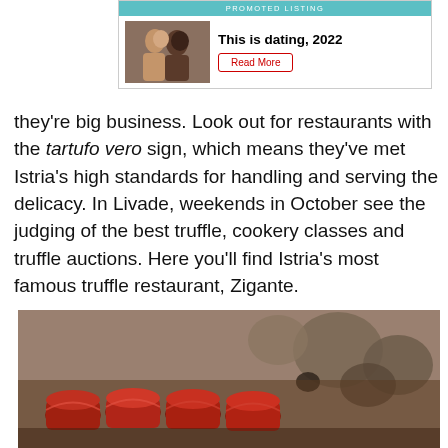[Figure (other): Promoted listing advertisement banner: 'This is dating, 2022' with a couple image and Read More button on teal/cyan header bar.]
they're big business. Look out for restaurants with the tartufo vero sign, which means they've met Istria's high standards for handling and serving the delicacy. In Livade, weekends in October see the judging of the best truffle, cookery classes and truffle auctions. Here you'll find Istria's most famous truffle restaurant, Zigante.
[Figure (photo): Close-up photo of rolled slices of cured red meat (prosciutto/ham) with blurred truffles in the background.]